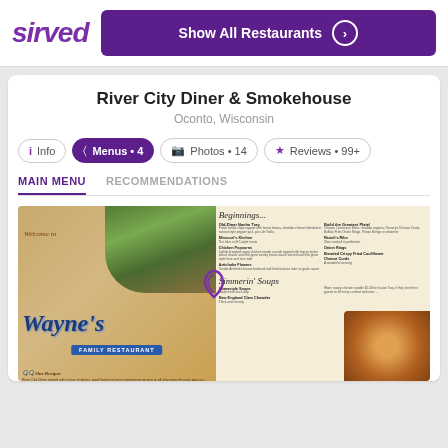[Figure (logo): Sirved logo in purple italic bold text]
Show All Restaurants
River City Diner & Smokehouse
Oconto, Wisconsin
Info | Menus • 4 | Photos • 14 | Reviews • 99+
MAIN MENU  RECOMMENDATIONS
[Figure (photo): Wayne's Family Restaurant menu page showing Beginnings and Simmerin' Soups sections, with restaurant exterior photo and food photo]